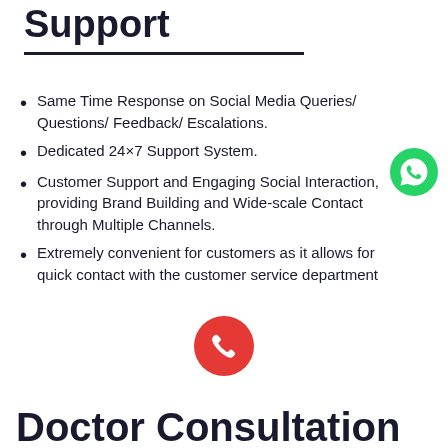Social Media Customer Support
Same Time Response on Social Media Queries/ Questions/ Feedback/ Escalations.
Dedicated 24×7 Support System.
Customer Support and Engaging Social Interaction, providing Brand Building and Wide-scale Contact through Multiple Channels.
Extremely convenient for customers as it allows for quick contact with the customer service department
[Figure (logo): WhatsApp green circle icon with phone handset]
[Figure (logo): Red circle phone call icon]
Doctor Consultation